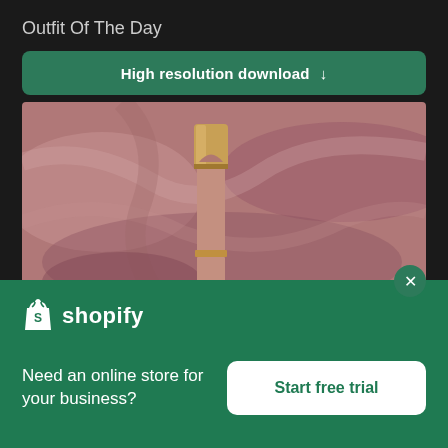Outfit Of The Day
High resolution download ↓
[Figure (photo): Close-up photo of a gold-capped lipstick resting on pink/mauve silk fabric with soft folds and wrinkles]
× (close button)
[Figure (logo): Shopify logo — white shopping bag icon with letter S, next to the word shopify in white bold text]
Need an online store for your business?
Start free trial